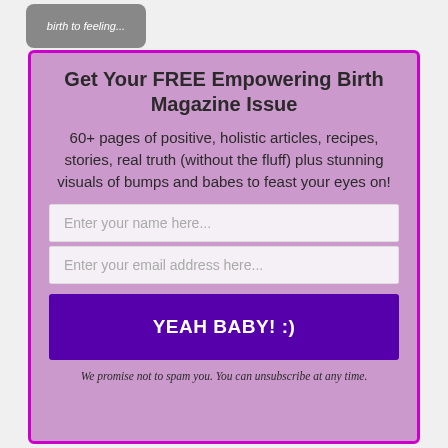[Figure (photo): Partial image at the top showing 'birth to feeling...' text overlay on a photo]
Get Your FREE Empowering Birth Magazine Issue
60+ pages of positive, holistic articles, recipes, stories, real truth (without the fluff) plus stunning visuals of bumps and babes to feast your eyes on!
Enter your name here...
Enter your email address here...
YEAH BABY! :)
We promise not to spam you. You can unsubscribe at any time.